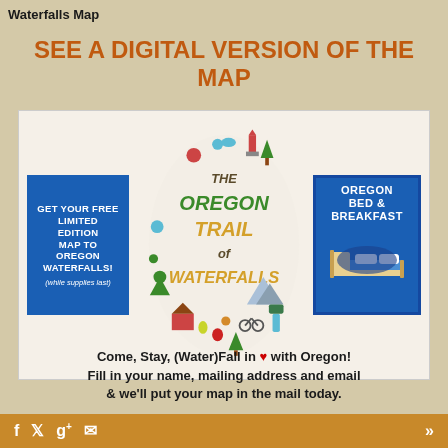Waterfalls Map
SEE A DIGITAL VERSION OF THE MAP
[Figure (illustration): Promotional image for 'The Oregon Trail of Waterfalls' featuring colorful illustrated icons of Oregon wildlife, nature, and activities arranged in an oval shape. Left side has a blue box reading 'GET YOUR FREE LIMITED EDITION MAP TO OREGON WATERFALLS! (while supplies last)'. Right side has a blue box reading 'OREGON BED & BREAKFAST' with an illustration of a bed.]
Come, Stay, (Water)Fall in ♥ with Oregon! Fill in your name, mailing address and email & we'll put your map in the mail today.
f  t  g+  ✉  »